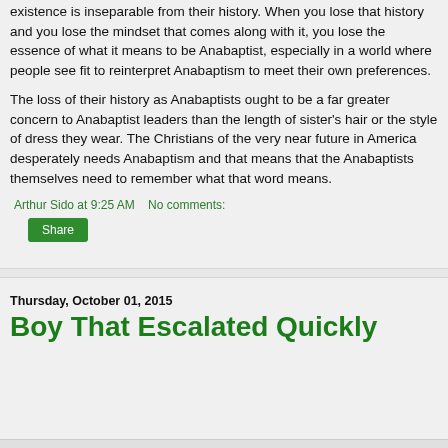existence is inseparable from their history. When you lose that history and you lose the mindset that comes along with it, you lose the essence of what it means to be Anabaptist, especially in a world where people see fit to reinterpret Anabaptism to meet their own preferences.
The loss of their history as Anabaptists ought to be a far greater concern to Anabaptist leaders than the length of sister's hair or the style of dress they wear. The Christians of the very near future in America desperately needs Anabaptism and that means that the Anabaptists themselves need to remember what that word means.
Arthur Sido at 9:25 AM   No comments:
Share
Thursday, October 01, 2015
Boy That Escalated Quickly